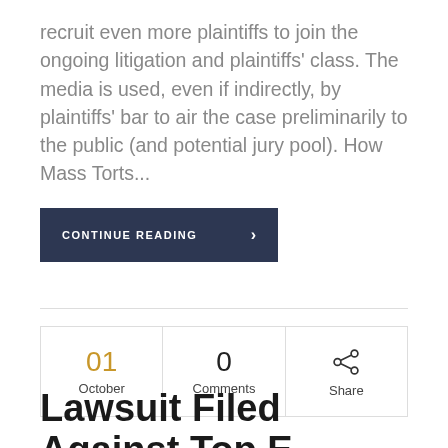recruit even more plaintiffs to join the ongoing litigation and plaintiffs' class. The media is used, even if indirectly, by plaintiffs' bar to air the case preliminarily to the public (and potential jury pool). How Mass Torts...
CONTINUE READING ›
| Date | Comments | Share |
| --- | --- | --- |
| 01 October | 0 Comments | Share |
Lawsuit Filed Against Top E-